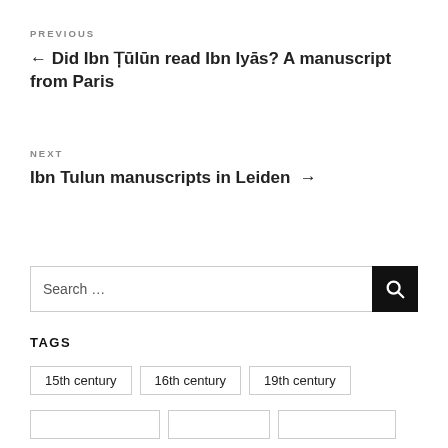PREVIOUS
← Did Ibn Ṭūlūn read Ibn Iyās? A manuscript from Paris
NEXT
Ibn Tulun manuscripts in Leiden →
Search …
TAGS
15th century
16th century
19th century